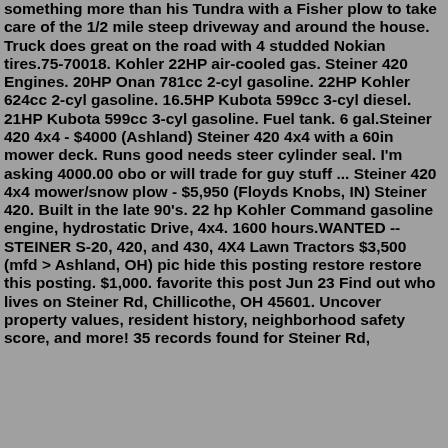something more than his Tundra with a Fisher plow to take care of the 1/2 mile steep driveway and around the house. Truck does great on the road with 4 studded Nokian tires.75-70018. Kohler 22HP air-cooled gas. Steiner 420 Engines. 20HP Onan 781cc 2-cyl gasoline. 22HP Kohler 624cc 2-cyl gasoline. 16.5HP Kubota 599cc 3-cyl diesel. 21HP Kubota 599cc 3-cyl gasoline. Fuel tank. 6 gal.Steiner 420 4x4 - $4000 (Ashland) Steiner 420 4x4 with a 60in mower deck. Runs good needs steer cylinder seal. I'm asking 4000.00 obo or will trade for guy stuff ... Steiner 420 4x4 mower/snow plow - $5,950 (Floyds Knobs, IN) Steiner 420. Built in the late 90's. 22 hp Kohler Command gasoline engine, hydrostatic Drive, 4x4. 1600 hours.WANTED -- STEINER S-20, 420, and 430, 4X4 Lawn Tractors $3,500 (mfd > Ashland, OH) pic hide this posting restore restore this posting. $1,000. favorite this post Jun 23 Find out who lives on Steiner Rd, Chillicothe, OH 45601. Uncover property values, resident history, neighborhood safety score, and more! 35 records found for Steiner Rd,